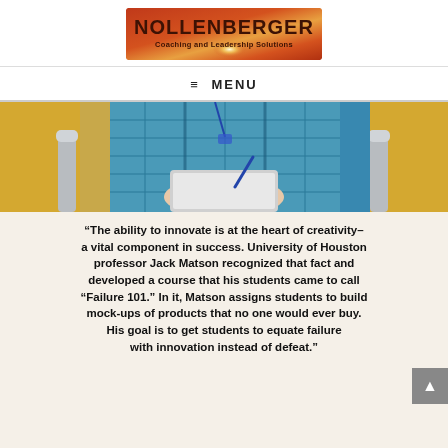[Figure (logo): Nollenberger Coaching and Leadership Solutions logo — orange/red gradient background with white/gold sunburst, text 'NOLLENBERGER' in dark letters and 'Coaching and Leadership Solutions' below]
≡ MENU
[Figure (photo): A person in a blue plaid shirt writing in a notebook, seated in a chair with chrome armrests, from the torso down]
“The ability to innovate is at the heart of creativity–a vital component in success. University of Houston professor Jack Matson recognized that fact and developed a course that his students came to call “Failure 101.” In it, Matson assigns students to build mock-ups of products that no one would ever buy. His goal is to get students to equate failure with innovation instead of defeat.”